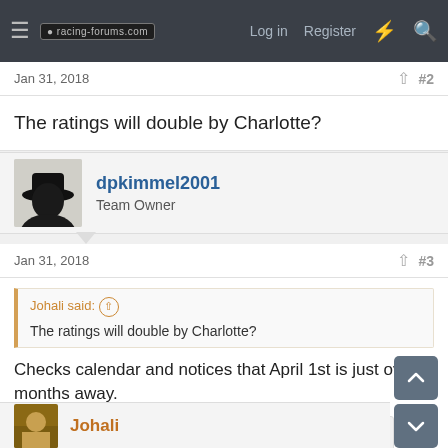racing-forums.com  Log in  Register
Jan 31, 2018  #2
The ratings will double by Charlotte?
dpkimmel2001
Team Owner
Jan 31, 2018  #3
Johali said: ↑
The ratings will double by Charlotte?
Checks calendar and notices that April 1st is just over 2 months away.
FLRacingFan, kymartin6 and Johali
Johali